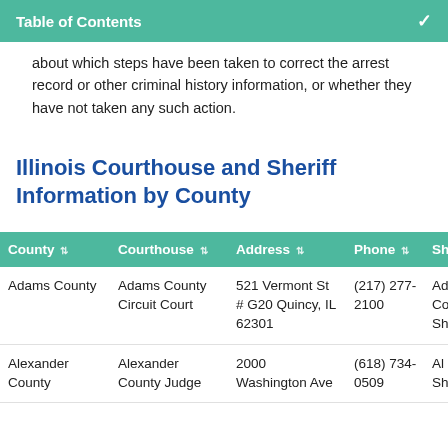Table of Contents
about which steps have been taken to correct the arrest record or other criminal history information, or whether they have not taken any such action.
Illinois Courthouse and Sheriff Information by County
| County | Courthouse | Address | Phone | Sh... |
| --- | --- | --- | --- | --- |
| Adams County | Adams County Circuit Court | 521 Vermont St # G20 Quincy, IL 62301 | (217) 277-2100 | Ad Co Sh... |
| Alexander County | Alexander County Judge | 2000 Washington Ave | (618) 734-0509 | Al Co Sh... |